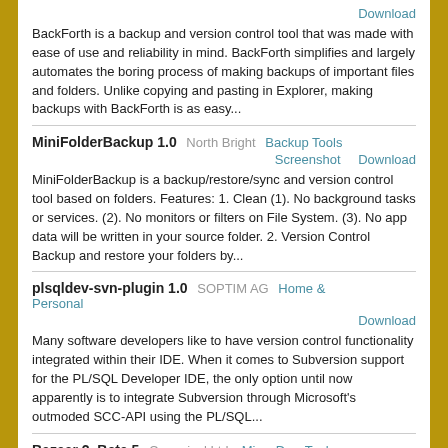Download
BackForth is a backup and version control tool that was made with ease of use and reliability in mind. BackForth simplifies and largely automates the boring process of making backups of important files and folders. Unlike copying and pasting in Explorer, making backups with BackForth is as easy...
MiniFolderBackup 1.0   North Bright   Backup Tools
Screenshot   Download
MiniFolderBackup is a backup/restore/sync and version control tool based on folders. Features: 1. Clean (1). No background tasks or services. (2). No monitors or filters on File System. (3). No app data will be written in your source folder. 2. Version Control Backup and restore your folders by...
plsqldev-svn-plugin 1.0   SOPTIM AG   Home & Personal
Download
Many software developers like to have version control functionality integrated within their IDE. When it comes to Subversion support for the PL/SQL Developer IDE, the only option until now apparently is to integrate Subversion through Microsoft's outmoded SCC-API using the PL/SQL...
Bazaar 2. Beta 5   Canonical Ltd.   Misc. Dev. Tools
Screenshot   Download
Bazaar is a version control system that helps you track project history over time and to collaborate easily with others. Whether you're a single developer, a co-located team or a community of developers scattered across the world, Bazaar